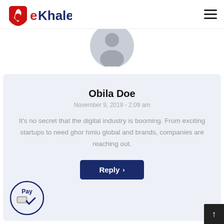eKhales
[Figure (illustration): Gray default user avatar circle with person silhouette]
Obila Doe
November 9, 2019 - 2:09 am
It's no secret that the digital industry is booming. From exciting startups to need ghor hmiu global and brands, companies are reaching out.
[Figure (other): Reply button with chevron arrow]
[Figure (logo): Pay badge with circular border, currency/payment icon and checkmark]